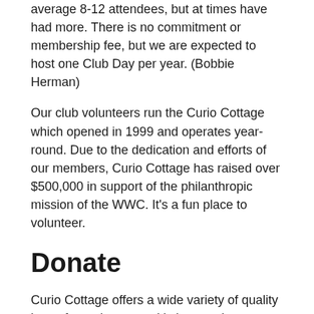average 8-12 attendees, but at times have had more. There is no commitment or membership fee, but we are expected to host one Club Day per year. (Bobbie Herman)
Our club volunteers run the Curio Cottage which opened in 1999 and operates year-round. Due to the dedication and efforts of our members, Curio Cottage has raised over $500,000 in support of the philanthropic mission of the WWC. It's a fun place to volunteer.
Donate
Curio Cottage offers a wide variety of quality items from glassware, kitchen equipment, jewelry, collectibles and much more. All of the merchandise is donated.